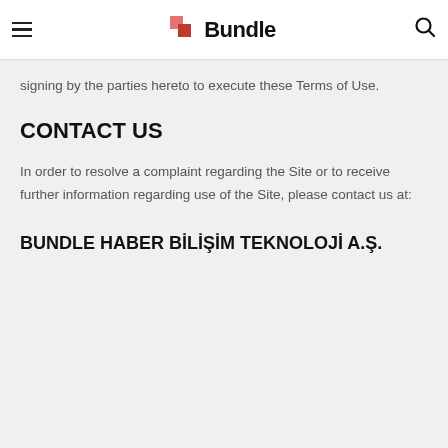Bundle
signing by the parties hereto to execute these Terms of Use.
CONTACT US
In order to resolve a complaint regarding the Site or to receive further information regarding use of the Site, please contact us at:
BUNDLE HABER BİLİŞİM TEKNOLOJİ A.Ş.